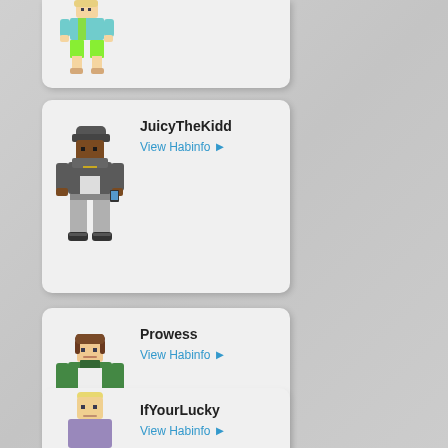[Figure (screenshot): Partial card at top showing a pixel avatar character in teal shirt and green shorts, card cut off at top]
[Figure (screenshot): Card for user JuicyTheKidd with pixel avatar in dark hoodie and gray pants]
JuicyTheKidd
View Habinfo ▶
[Figure (screenshot): Card for user Prowess with pixel avatar in green jacket and blue shorts]
Prowess
View Habinfo ▶
[Figure (screenshot): Partial card at bottom for user IfYourLucky with pixel avatar in gray sweater, card cut off at bottom]
IfYourLucky
View Habinfo ▶